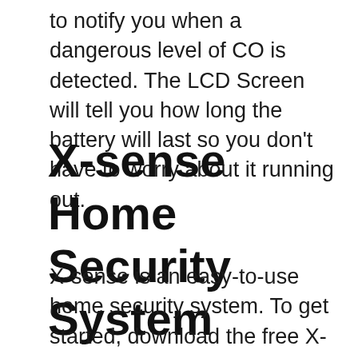to notify you when a dangerous level of CO is detected. The LCD Screen will tell you how long the battery will last so you don't have to worry about it running out.
X-sense Home Security System
X-sense is an easy-to-use home security system. To get started, download the free X-sense app to your smartphone. This app guides you through the process of setting up the security system. Once installed, you can pair sensors with the hub using the app. You can also use the app to monitor your home. Once you've configured the system, you can start monitoring your property.